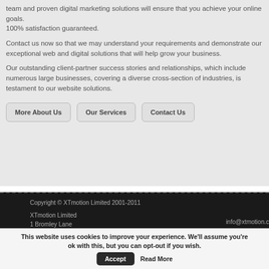team and proven digital marketing solutions will ensure that you achieve your online goals. 100% satisfaction guaranteed.
Contact us now so that we may understand your requirements and demonstrate our exceptional web and digital solutions that will help grow your business.
Our outstanding client-partner success stories and relationships, which include numerous large businesses, covering a diverse cross-section of industries, is testament to our website solutions.
More About Us
Our Services
Contact Us
Copyright © XTmotion Limited 2001-2011
XTmotion Limited
1 Bromley Lane
info@xtmotion.c
This website uses cookies to improve your experience. We'll assume you're ok with this, but you can opt-out if you wish. Accept  Read More